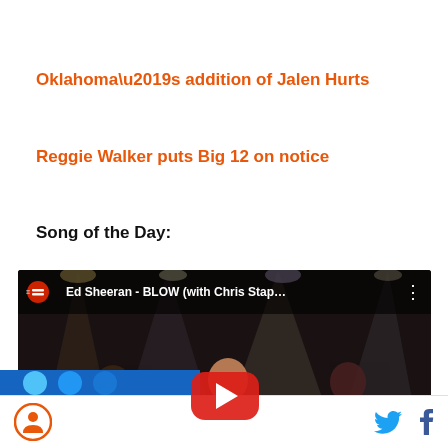Oklahoma’s addition of Jalen Hurts
Reggie Walker puts Big 12 on notice
Song of the Day:
[Figure (screenshot): YouTube video thumbnail for Ed Sheeran - BLOW (with Chris Stap...) showing three female guitarists performing on stage with bright stage lights]
Logo icon | Twitter icon | Facebook icon